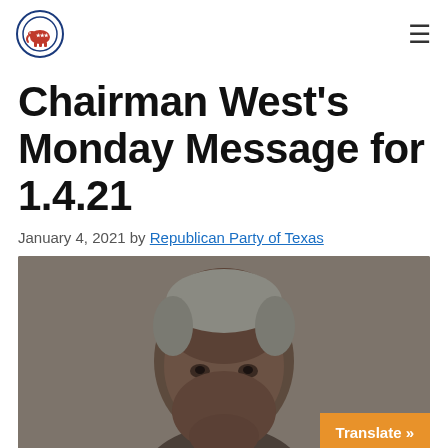Republican Party of Texas - navigation header with logo and menu
Chairman West's Monday Message for 1.4.21
January 4, 2021 by Republican Party of Texas
[Figure (photo): Portrait photo of Chairman West against a gray background, showing head and upper shoulders]
Translate »